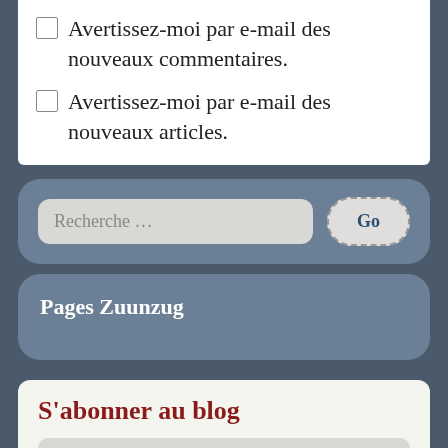Avertissez-moi par e-mail des nouveaux commentaires.
Avertissez-moi par e-mail des nouveaux articles.
Recherche …
Go
Pages Zuunzug
S'abonner au blog
Adresse e-mail